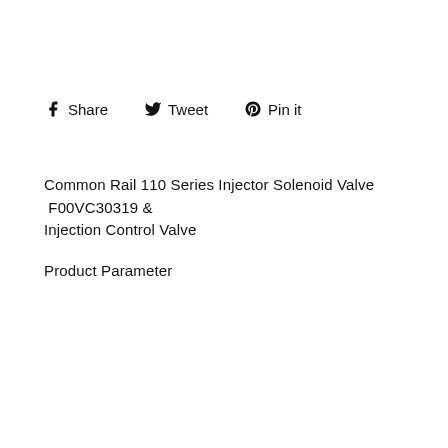Share  Tweet  Pin it
Common Rail 110 Series Injector Solenoid Valve  F00VC30319 & Injection Control Valve
Product Parameter
|  |  |
| --- | --- |
| Type | Diesel Common Rail System Part |
| Part Number | F00VC30319 |
| OEM Universal Code |  |